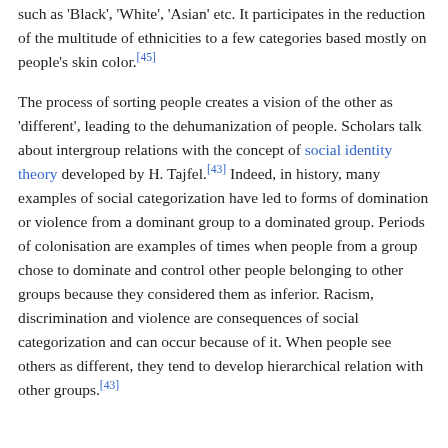such as 'Black', 'White', 'Asian' etc. It participates in the reduction of the multitude of ethnicities to a few categories based mostly on people's skin color.[45]
The process of sorting people creates a vision of the other as 'different', leading to the dehumanization of people. Scholars talk about intergroup relations with the concept of social identity theory developed by H. Tajfel.[43] Indeed, in history, many examples of social categorization have led to forms of domination or violence from a dominant group to a dominated group. Periods of colonisation are examples of times when people from a group chose to dominate and control other people belonging to other groups because they considered them as inferior. Racism, discrimination and violence are consequences of social categorization and can occur because of it. When people see others as different, they tend to develop hierarchical relation with other groups.[43]